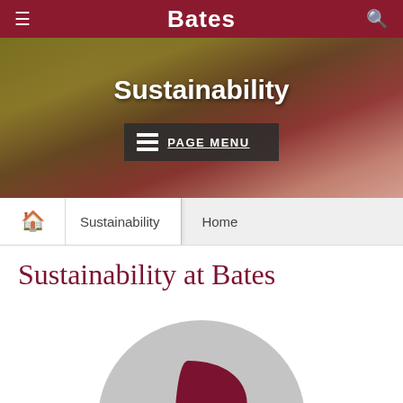Bates
Sustainability
PAGE MENU
Sustainability   Home
Sustainability at Bates
[Figure (logo): Bates College circular logo with dark red leaf/B shape on grey circle background]